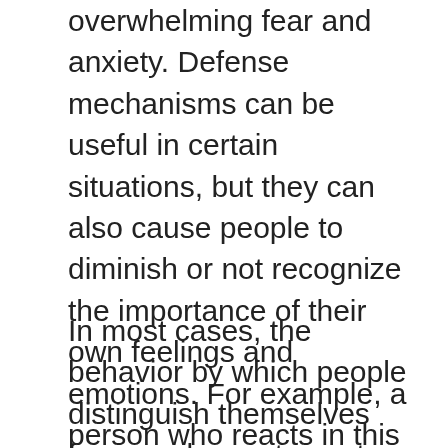overwhelming fear and anxiety. Defense mechanisms can be useful in certain situations, but they can also cause people to diminish or not recognize the importance of their own feelings and emotions. For example, a person who reacts in this manner may feel that negative emotions such as anger or frustration cannot express themselves.
In most cases, the behavior by which people distinguish themselves from unpleasant events, actions, or thoughts is not something the person is aware of